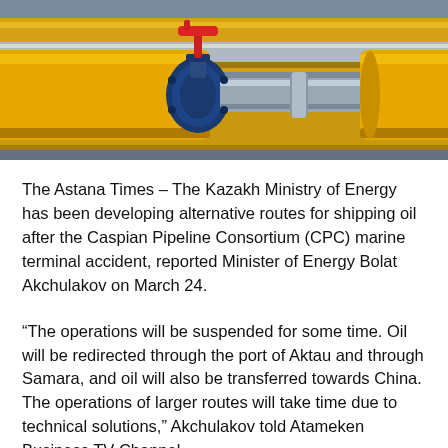[Figure (photo): Close-up photograph of industrial yellow and blue pipeline valves and pipes with a red handle on a valve, against a blurred background of more yellow pipes and fittings.]
The Astana Times – The Kazakh Ministry of Energy has been developing alternative routes for shipping oil after the Caspian Pipeline Consortium (CPC) marine terminal accident, reported Minister of Energy Bolat Akchulakov on March 24.
“The operations will be suspended for some time. Oil will be redirected through the port of Aktau and through Samara, and oil will also be transferred towards China. The operations of larger routes will take time due to technical solutions,” Akchulakov told Atameken Business TV Channel.